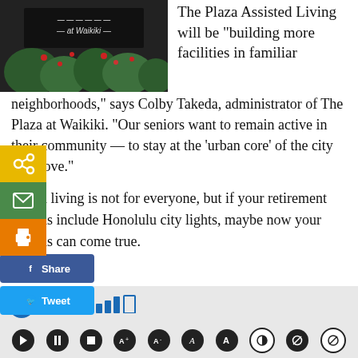[Figure (photo): Sign reading '— at Waikiki —' with tropical plants and foliage in front of a dark building exterior]
The Plaza Assisted Living will be "building more facilities in familiar neighborhoods," says Colby Takeda, administrator of The Plaza at Waikiki. "Our seniors want to remain active in their community — to stay at the 'urban core' of the city they love."
Urban living is not for everyone, but if your retirement dreams include Honolulu city lights, maybe now your dreams can come true.
[Figure (screenshot): Screen Reader accessibility toolbar with audio controls including play, pause, stop, and other buttons]
Screen Reader — audio controls bar